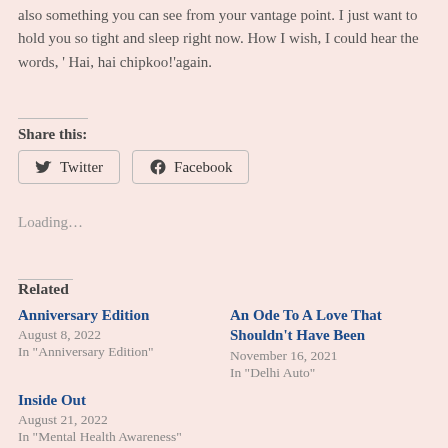also something you can see from your vantage point. I just want to hold you so tight and sleep right now. How I wish, I could hear the words, ' Hai, hai chipkoo!'again.
Share this:
[Figure (other): Twitter and Facebook share buttons]
Loading...
Related
Anniversary Edition
August 8, 2022
In "Anniversary Edition"
An Ode To A Love That Shouldn't Have Been
November 16, 2021
In "Delhi Auto"
Inside Out
August 21, 2022
In "Mental Health Awareness"